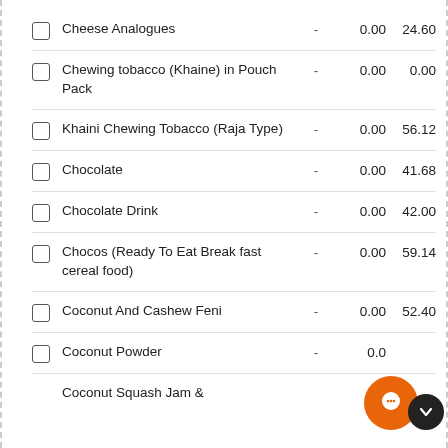Cheese Analogues - 0.00 24.60
Chewing tobacco (Khaine) in Pouch Pack - 0.00 0.00
Khaini Chewing Tobacco (Raja Type) - 0.00 56.12
Chocolate - 0.00 41.68
Chocolate Drink - 0.00 42.00
Chocos (Ready To Eat Break fast cereal food) - 0.00 59.14
Coconut And Cashew Feni - 0.00 52.40
Coconut Powder - 0.0…
Coconut Squash Jam &